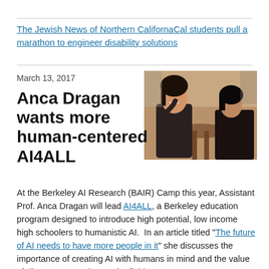The Jewish News of Northern CalifornaCal students pull a marathon to engineer disability solutions
March 13, 2017
[Figure (photo): Two people sitting at a table in conversation, one smiling at the camera]
Anca Dragan wants more human-centered AI4ALL
At the Berkeley AI Research (BAIR) Camp this year, Assistant Prof. Anca Dragan will lead AI4ALL, a Berkeley education program designed to introduce high potential, low income high schoolers to humanistic AI. In an article titled "The future of AI needs to have more people in it" she discusses the importance of creating AI with humans in mind and the value of diverse approaches to the field.